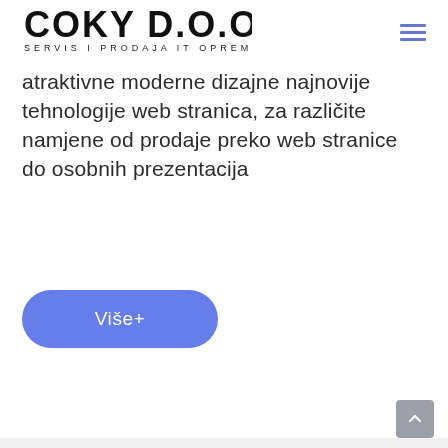COKY D.O.O. SERVIS I PRODAJA IT OPREME
atraktivne moderne dizajne najnovije tehnologije web stranica, za različite namjene od prodaje preko web stranice do osobnih prezentacija
Više +